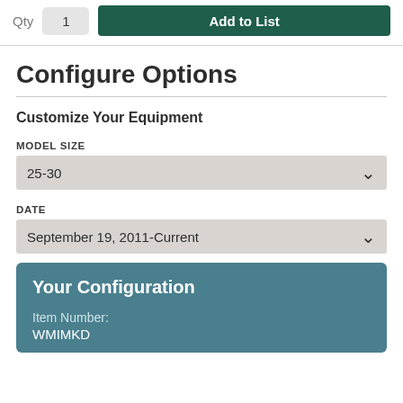Qty  1  Add to List
Configure Options
Customize Your Equipment
MODEL SIZE
25-30
DATE
September 19, 2011-Current
Your Configuration
Item Number:
WMIMKD